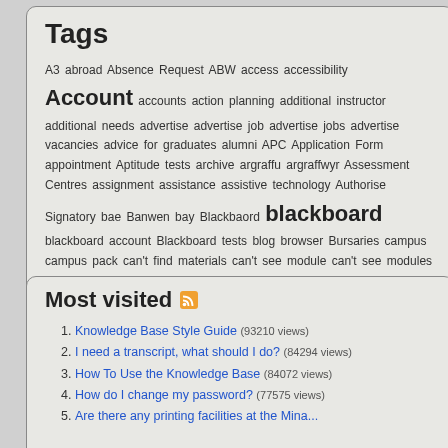Tags
A3 abroad Absence Request ABW access accessibility Account accounts action planning additional instructor additional needs advertise advertise job advertise jobs advertise vacancies advice for graduates alumni APC Application Form appointment Aptitude tests archive argraffu argraffwyr Assessment Centres assignment assistance assistive technology Authorise Signatory bae Banwen bay Blackbaord blackboard blackboard account Blackboard tests blog browser Bursaries campus campus pack can't find materials can't see module can't see modules Canvas card career choice Career Masterclasses career options career query
Most visited
Knowledge Base Style Guide (93210 views)
I need a transcript, what should I do? (84294 views)
How To Use the Knowledge Base (84072 views)
How do I change my password? (77575 views)
Are there any printing facilities at the Mina...